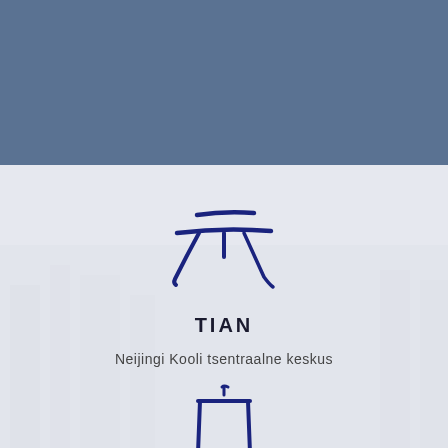[Figure (illustration): Solid steel-blue banner/header band occupying the top portion of the page]
[Figure (illustration): Light grey background with faint cityscape photograph overlay in the lower section]
[Figure (illustration): Large Chinese character 天 (Tian/Heaven) written in dark navy blue calligraphic brush style]
TIAN
Neijingi Kooli tsentraalne keskus
[Figure (illustration): Partial Chinese character at bottom in dark navy blue calligraphic brush style, partially cut off]